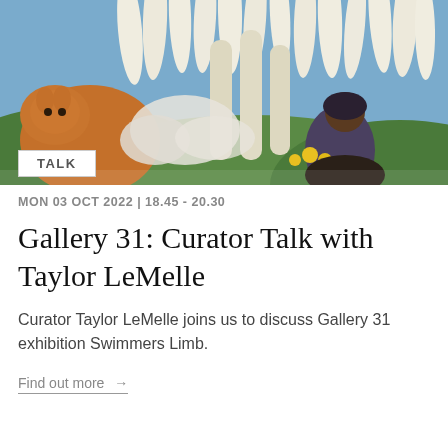[Figure (photo): A collage-style photo showing a large orange cat on the left side and a person sitting outdoors on the right, surrounded by white elongated sculptural forms against a blue sky and green hills background.]
TALK
MON 03 OCT 2022 | 18.45 - 20.30
Gallery 31: Curator Talk with Taylor LeMelle
Curator Taylor LeMelle joins us to discuss Gallery 31 exhibition Swimmers Limb.
Find out more →